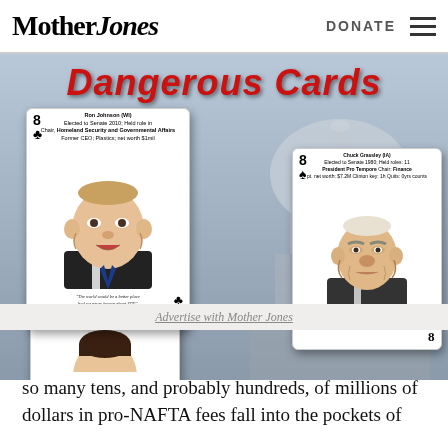Mother Jones | DONATE
[Figure (illustration): Mother Jones website screenshot showing 'Dangerous Cards' article header with playing card illustrations of politicians Ron Johnson, Chuck Grassley, and Mike Lee in front of US Capitol building backdrop. Cards show caricature illustrations and political information.]
Advertise with Mother Jones
But if NAFTA really matters so little, then why did so many tens, and probably hundreds, of millions of dollars in pro-NAFTA fees fall into the pockets of